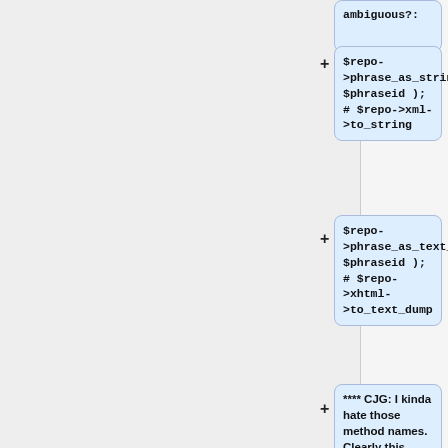ambiguous?:
$repo->phrase_as_string( $phraseid ); # $repo->xml->to_string
$repo->phrase_as_text_dump( $phraseid );  # $repo->xhtml->to_text_dump
**** CJG: I kinda hate those method names. Clearly this issue remains open!